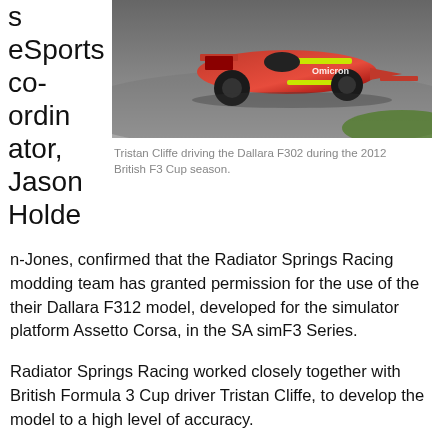s eSports co-ordinator, Jason Holden-Jones,
[Figure (photo): Tristan Cliffe driving a red Formula 3 Dallara F302 race car on track during the 2012 British F3 Cup season.]
Tristan Cliffe driving the Dallara F302 during the 2012 British F3 Cup season.
n-Jones, confirmed that the Radiator Springs Racing modding team has granted permission for the use of the their Dallara F312 model, developed for the simulator platform Assetto Corsa, in the SA simF3 Series.
Radiator Springs Racing worked closely together with British Formula 3 Cup driver Tristan Cliffe, to develop the model to a high level of accuracy.
Round 1 of the championship will be on 15 February 2016. All interested sim racers are invited to fill out an electronic championship application form which can be